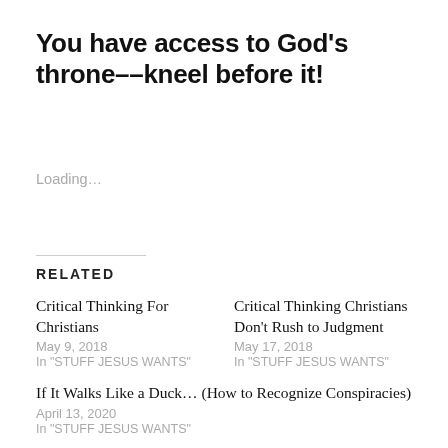You have access to God's throne––kneel before it!
Loading…
Related
Critical Thinking For Christians
May 9, 2018
In "STUFF JESUS WANTS"
Critical Thinking Christians Don't Rush to Judgment
May 17, 2018
In "STUFF JESUS WANTS"
If It Walks Like a Duck… (How to Recognize Conspiracies)
April 13, 2020
In "STUFF JESUS WANTS"